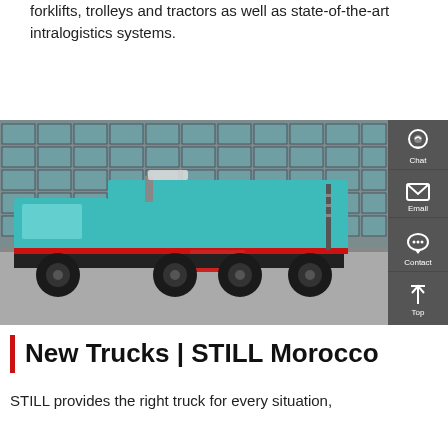forklifts, trolleys and tractors as well as state-of-the-art intralogistics systems.
Get a Quote
[Figure (photo): A teal/turquoise heavy-duty dump truck parked in front of a large glass-facade building, with a dark grey sidebar showing Chat, Email, Contact, and Top navigation icons.]
New Trucks | STILL Morocco
STILL provides the right truck for every situation,